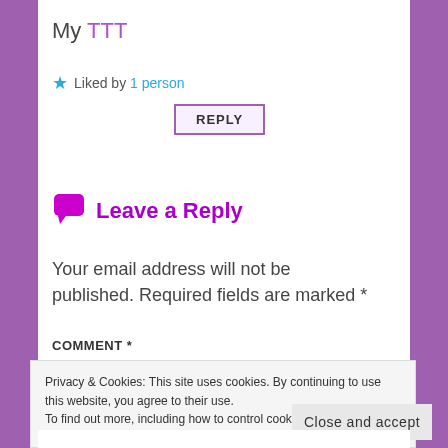My TTT
★ Liked by 1 person
REPLY
Leave a Reply
Your email address will not be published. Required fields are marked *
COMMENT *
Privacy & Cookies: This site uses cookies. By continuing to use this website, you agree to their use.
To find out more, including how to control cookies, see here: Cookie Policy
Close and accept